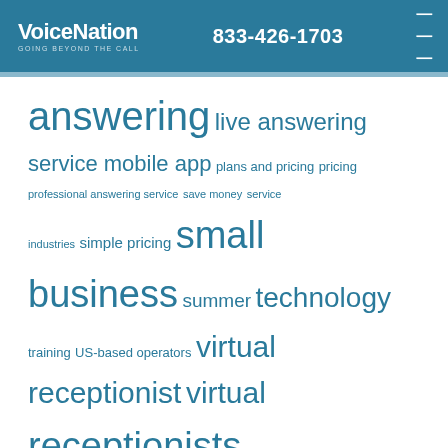VoiceNation GOING BEYOND THE CALL | 833-426-1703
[Figure (infographic): Tag cloud with words in various sizes in blue color on white background, including: answering (XL), live answering (LG), service (MD), mobile app (MD), plans and pricing (SM), pricing (SM), professional answering service (XS), save money (XS), service (XS), industries (XS), simple pricing (SM), small (XL), business (XL), summer (MD), technology (LG), training (SM), US-based operators (SM), virtual (LG), receptionist (LG), virtual (LG), receptionists (XL)]